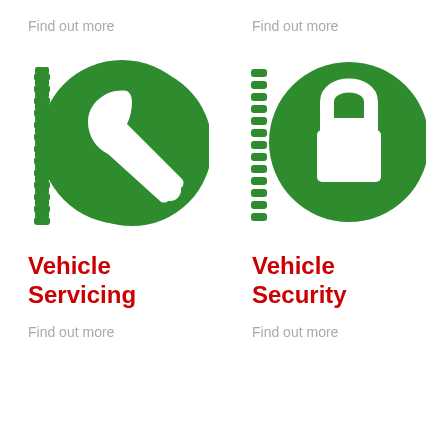Find out more
[Figure (illustration): Green circular icon with a white wrench/spanner symbol, styled with a gear-like serrated edge on the left side]
Vehicle Servicing
Find out more
Find out more
[Figure (illustration): Green circular icon with a white padlock symbol, styled with a gear-like serrated edge on the left side]
Vehicle Security
Find out more